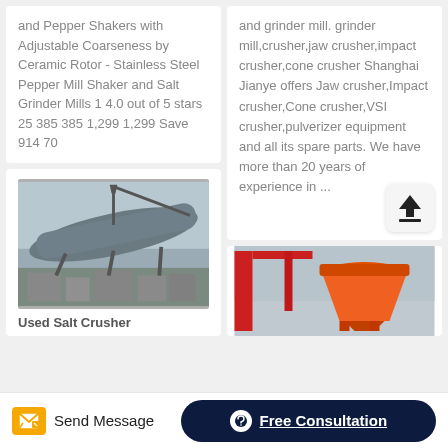and Pepper Shakers with Adjustable Coarseness by Ceramic Rotor - Stainless Steel Pepper Mill Shaker and Salt Grinder Mills 1 4.0 out of 5 stars 25 385 385 1,299 1,299 Save 914 70
and grinder mill. grinder mill,crusher,jaw crusher,impact crusher,cone crusher Shanghai Jianye offers Jaw crusher,Impact crusher,Cone crusher,VSI crusher,pulverizer equipment and all its spare parts. We have more than 20 years of experience in ...
[Figure (photo): Industrial rotary kiln or large cylindrical mill equipment outdoors on concrete foundations]
Used Salt Crusher
[Figure (photo): Orange industrial crusher or cone crusher equipment]
Send Message
Free Consultation